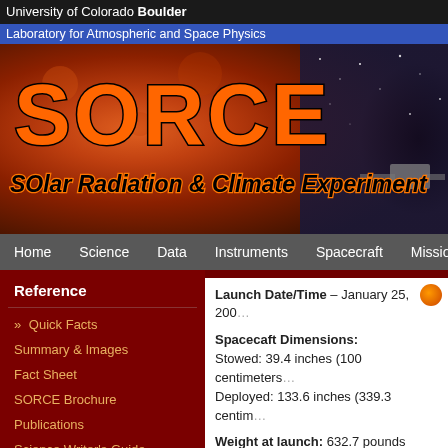University of Colorado Boulder
Laboratory for Atmospheric and Space Physics
[Figure (illustration): SORCE mission banner with large orange SORCE text and subtitle 'SOlar Radiation & Climate Experiment' over a solar/space background image]
Home  Science  Data  Instruments  Spacecraft  Mission
Reference
» Quick Facts
Summary & Images
Fact Sheet
SORCE Brochure
Publications
Science Writer's Guide
Press Kit
SORCE ATBD
Glossary
Launch Date/Time – January 25, 200...
Spacecaft Dimensions:
Stowed: 39.4 inches (100 centimeters...
Deployed: 133.6 inches (339.3 centim...
Weight at launch: 632.7 pounds (28...
Power: 348 watts of electric power fr...